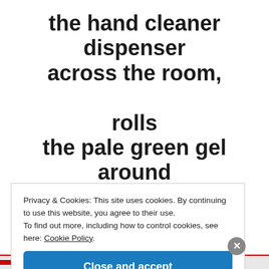the hand cleaner dispenser across the room,

rolls
the pale green gel around her
Privacy & Cookies: This site uses cookies. By continuing to use this website, you agree to their use.
To find out more, including how to control cookies, see here: Cookie Policy
Close and accept